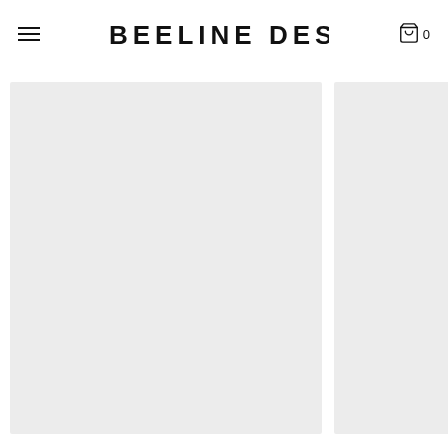BEELINE DESIGN — navigation header with hamburger menu and cart icon showing 0 items
[Figure (screenshot): Two product/gallery image placeholder panels side by side with light gray backgrounds. Left panel is larger, right panel is partially cropped by page edge.]